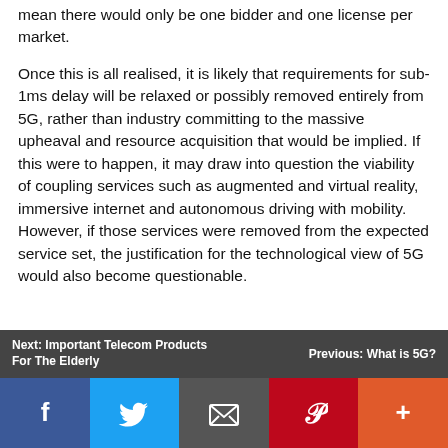mean there would only be one bidder and one license per market.
Once this is all realised, it is likely that requirements for sub-1ms delay will be relaxed or possibly removed entirely from 5G, rather than industry committing to the massive upheaval and resource acquisition that would be implied. If this were to happen, it may draw into question the viability of coupling services such as augmented and virtual reality, immersive internet and autonomous driving with mobility. However, if those services were removed from the expected service set, the justification for the technological view of 5G would also become questionable.
Next: Important Telecom Products For The Elderly | Previous: What is 5G?